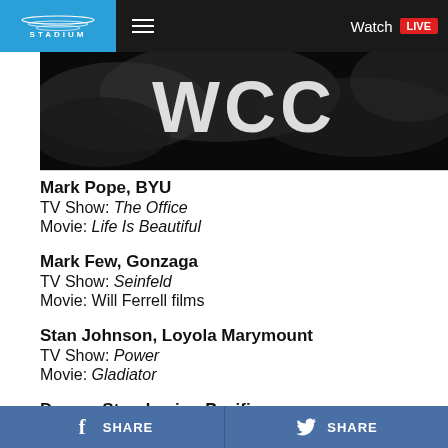STADIUM | Watch LIVE
[Figure (photo): WCC logo on dark smoky background]
Mark Pope, BYU
TV Show: The Office
Movie: Life Is Beautiful
Mark Few, Gonzaga
TV Show: Seinfeld
Movie: Will Ferrell films
Stan Johnson, Loyola Marymount
TV Show: Power
Movie: Gladiator
Damon Stoudamire, Pacific
TV Show: Martin
SHARE | SHARE